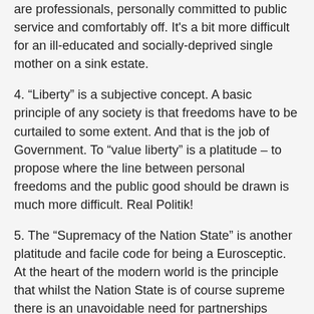are professionals, personally committed to public service and comfortably off. It's a bit more difficult for an ill-educated and socially-deprived single mother on a sink estate.
4. “Liberty” is a subjective concept. A basic principle of any society is that freedoms have to be curtailed to some extent. And that is the job of Government. To “value liberty” is a platitude – to propose where the line between personal freedoms and the public good should be drawn is much more difficult. Real Politik!
5. The “Supremacy of the Nation State” is another platitude and facile code for being a Eurosceptic. At the heart of the modern world is the principle that whilst the Nation State is of course supreme there is an unavoidable need for partnerships across national borders. Whether it is the UN or NATO or the EU some surrendering of national sovereignty is not just essential - it is morally right.
Mr Lee doesn't seem to be an extremist and I don't doubt that he will be a good consistency MP. But do we really want a parliament dominated by people with the type of politics